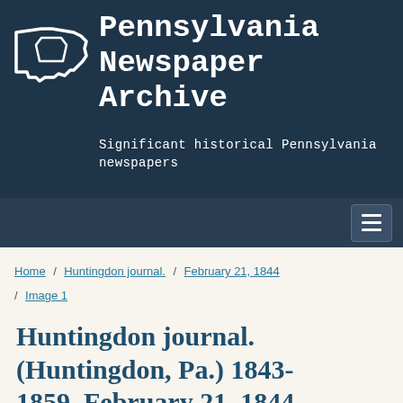[Figure (logo): Pennsylvania Newspaper Archive logo with Pennsylvania state outline and title text on dark blue background]
Pennsylvania Newspaper Archive — Significant historical Pennsylvania newspapers
Navigation menu toggle button
Home / Huntingdon journal. / February 21, 1844 / Image 1
Huntingdon journal. (Huntingdon, Pa.) 1843-1859, February 21, 1844